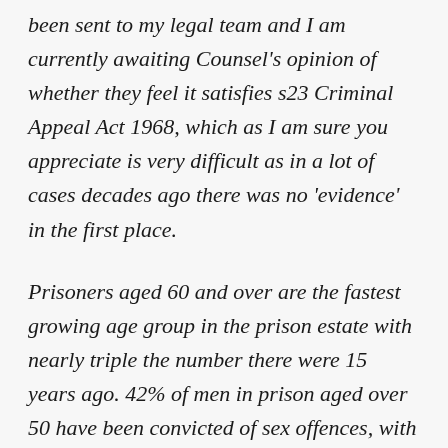been sent to my legal team and I am currently awaiting Counsel's opinion of whether they feel it satisfies s23 Criminal Appeal Act 1968, which as I am sure you appreciate is very difficult as in a lot of cases decades ago there was no 'evidence' in the first place.
Prisoners aged 60 and over are the fastest growing age group in the prison estate with nearly triple the number there were 15 years ago. 42% of men in prison aged over 50 have been convicted of sex offences, with one in eight of the sentenced